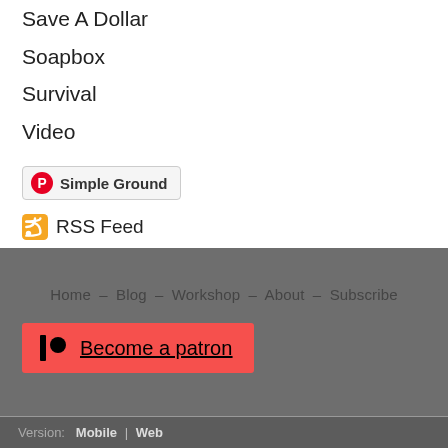Save A Dollar
Soapbox
Survival
Video
[Figure (logo): Pinterest logo button with text 'Simple Ground']
[Figure (logo): RSS Feed icon with text 'RSS Feed']
Home – Blog – Workshop – About – Subscribe
[Figure (logo): Patreon button: Become a patron]
Version: Mobile | Web